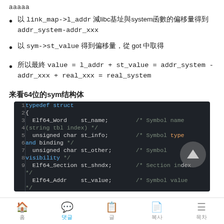ааааа
以 link_map->l_addr 減libc基址與system函數的偏移量得到 addr_system-addr_xxx
以 sym->st_value 得到偏移量，從 got 中取得
所以最終 value = l_addr + st_value = addr_system - addr_xxx + real_xxx = real_system
来看64位的sym结构体
[Figure (screenshot): Code block showing Elf64_Sym struct typedef in C with syntax highlighting on dark background. Lines 1-9 shown plus partial line. typedef struct { Elf64_Word st_name; /* Symbol name (string tbl index) */ unsigned char st_info; /* Symbol type and binding */ unsigned char st_other; /* Symbol visibility */ Elf64_Section st_shndx; /* Section index */ Elf64_Addr st_value; /* Symbol value */]
홈 댓글 글 복사 목차